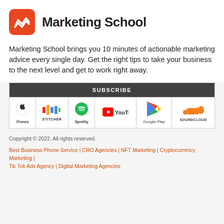Marketing School
Marketing School brings you 10 minutes of actionable marketing advice every single day. Get the right tips to take your business to the next level and get to work right away.
[Figure (other): Subscribe bar with platform logos: iTunes, Stitcher, Spotify, YouTube, Google Play, SoundCloud]
Copyright © 2022. All rights reserved.
Best Business Phone Service | CRO Agencies | NFT Marketing | Cryptocurrency Marketing | Tik Tok Ads Agency | Digital Marketing Agencies